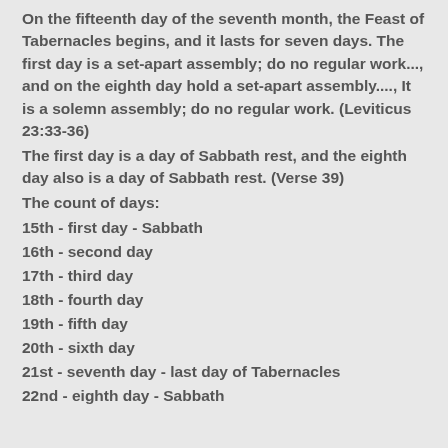On the fifteenth day of the seventh month, the Feast of Tabernacles begins, and it lasts for seven days. The first day is a set-apart assembly; do no regular work..., and on the eighth day hold a set-apart assembly...., It is a solemn assembly; do no regular work. (Leviticus 23:33-36)
The first day is a day of Sabbath rest, and the eighth day also is a day of Sabbath rest. (Verse 39)
The count of days:
15th - first day - Sabbath
16th - second day
17th - third day
18th - fourth day
19th - fifth day
20th - sixth day
21st - seventh day - last day of Tabernacles
22nd - eighth day - Sabbath